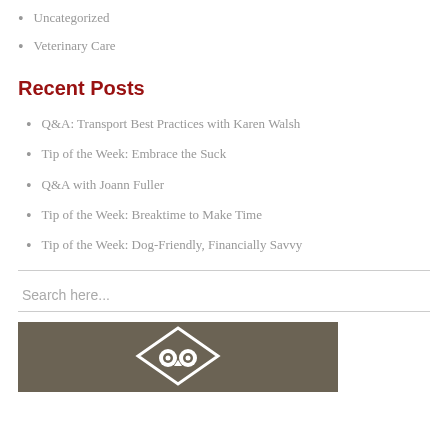Uncategorized
Veterinary Care
Recent Posts
Q&A: Transport Best Practices with Karen Walsh
Tip of the Week: Embrace the Suck
Q&A with Joann Fuller
Tip of the Week: Breaktime to Make Time
Tip of the Week: Dog-Friendly, Financially Savvy
Search here...
[Figure (logo): Logo image on dark brown/khaki background with white geometric/owl icon]